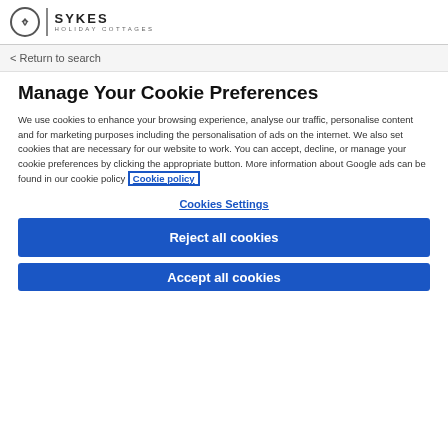SYKES HOLIDAY COTTAGES
< Return to search
Manage Your Cookie Preferences
We use cookies to enhance your browsing experience, analyse our traffic, personalise content and for marketing purposes including the personalisation of ads on the internet. We also set cookies that are necessary for our website to work. You can accept, decline, or manage your cookie preferences by clicking the appropriate button. More information about Google ads can be found in our cookie policy Cookie policy
Cookies Settings
Reject all cookies
Accept all cookies